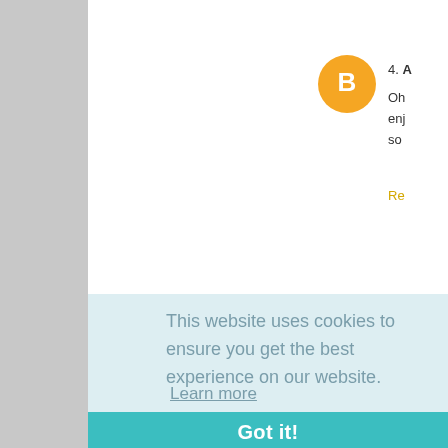[Figure (illustration): Orange circular Blogger avatar icon with white B letter, for comment 4]
4. A
Oh enj so
Re
[Figure (illustration): Grey circular default user avatar icon for commenter E]
E
Thank you
Po
ibe t
This website uses cookies to ensure you get the best experience on our website.
Learn more
Got it!